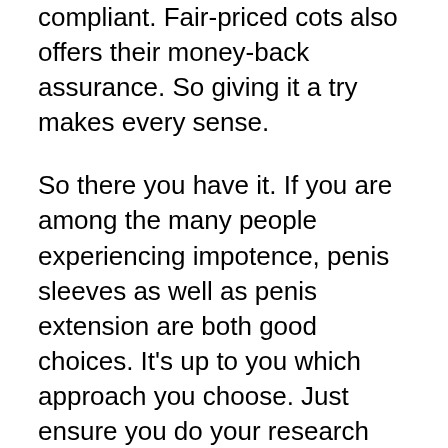compliant. Fair-priced cots also offers their money-back assurance. So giving it a try makes every sense.
So there you have it. If you are among the many people experiencing impotence, penis sleeves as well as penis extension are both good choices. It’s up to you which approach you choose. Just ensure you do your research study and also pick a technique that helps you!
It prevails for a male to want his penis to be bigger. Nonetheless, the trouble is that it is not unusual for men to be average or little in dimension when it comes to penis enlargement. Fortunately, for these men, study has proven that many men who